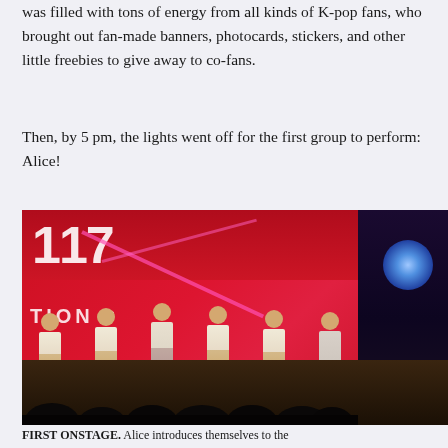was filled with tons of energy from all kinds of K-pop fans, who brought out fan-made banners, photocards, stickers, and other little freebies to give away to co-fans.
Then, by 5 pm, the lights went off for the first group to perform: Alice!
[Figure (photo): Six young women (K-pop group Alice) standing on a red-lit stage in school uniform-style outfits including plaid skirts and white tops. A red backdrop with partial text 'TION X' and large numbers visible. Blue stage lights visible on the right side. Audience silhouettes in the foreground.]
FIRST ONSTAGE. Alice introduces themselves to the